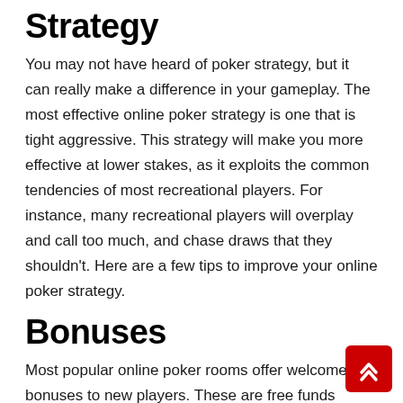Strategy
You may not have heard of poker strategy, but it can really make a difference in your gameplay. The most effective online poker strategy is one that is tight aggressive. This strategy will make you more effective at lower stakes, as it exploits the common tendencies of most recreational players. For instance, many recreational players will overplay and call too much, and chase draws that they shouldn't. Here are a few tips to improve your online poker strategy.
Bonuses
Most popular online poker rooms offer welcome bonuses to new players. These are free funds deposited into your player account, and you can use these funds to play poker or tournaments. While you can't withdraw free cash, some sites offer free tournament tickets or money in the form of a welcome